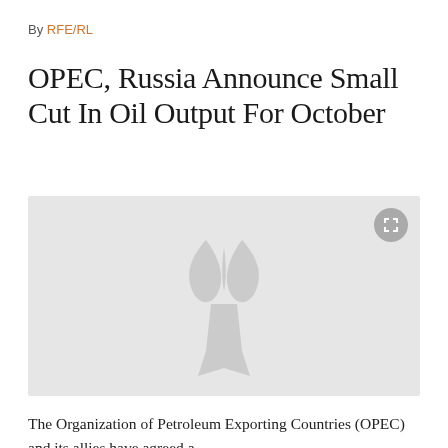By RFE/RL
OPEC, Russia Announce Small Cut In Oil Output For October
[Figure (photo): Gray placeholder image with RFE/RL torch-and-flame watermark logo in center, and an expand/fullscreen button icon in the top-right corner]
The Organization of Petroleum Exporting Countries (OPEC) and its allies have agreed a